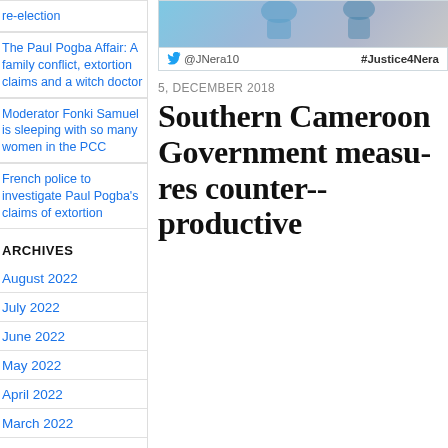re-election
The Paul Pogba Affair: A family conflict, extortion claims and a witch doctor
Moderator Fonki Samuel is sleeping with so many women in the PCC
French police to investigate Paul Pogba's claims of extortion
ARCHIVES
August 2022
July 2022
June 2022
May 2022
April 2022
March 2022
February 2022
[Figure (screenshot): Tweet image with profile photo and blue/grey background, showing @JNera10 handle and #Justice4Nera hashtag]
5, December 2018
Southern Cameroon Government measures counter-productive